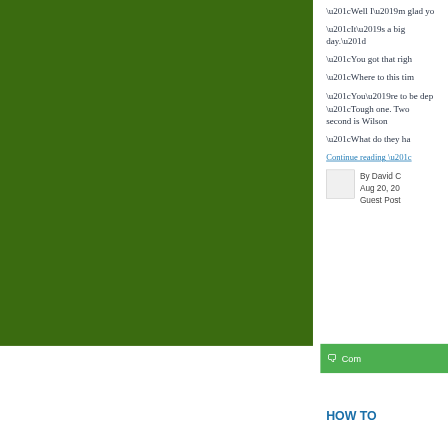“Well I’m glad yo…
“It’s a big day.”
“You got that righ…
“Where to this tim…
“You’re to be dep…
“Tough one. Two… second is Wilson…
“What do they ha…
Continue reading “…
By David C…
Aug 20, 20…
Guest Post…
Com…
HOW TO …